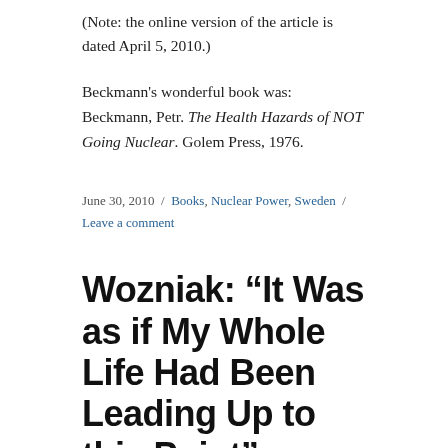(Note: the online version of the article is dated April 5, 2010.)
Beckmann's wonderful book was: Beckmann, Petr. The Health Hazards of NOT Going Nuclear. Golem Press, 1976.
June 30, 2010 / Books, Nuclear Power, Sweden / Leave a comment
Wozniak: “It Was as if My Whole Life Had Been Leading Up to this Point”
I...